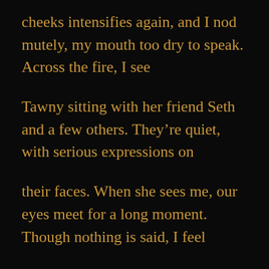cheeks intensifies again, and I nod mutely, my mouth too dry to speak. Across the fire, I see
Tawny sitting with her friend Seth and a few others. They're quiet, with serious expressions on
their faces. When she sees me, our eyes meet for a long moment. Though nothing is said, I feel
like an understanding has passed between us.
I steer Jacob deliberately away from her, finding a few empty seats near several of the